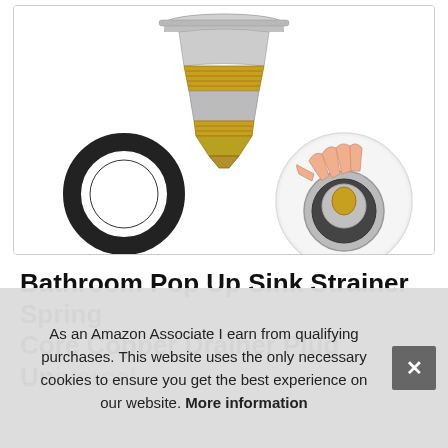[Figure (photo): Product image showing a bathroom pop-up sink strainer drain plug assembly with copper/gold threaded core mechanism shown disassembled, a black rubber O-ring gasket, and a circular inset photo of a hand installing the drain plug into a sink.]
Bathroom Pop Up Sink Strainer Spring Core Copper Drainer Plug Universal Fit Bounce Up Push Down Pop Up Drain Filter for Kitchen n D...
As an Amazon Associate I earn from qualifying purchases. This website uses the only necessary cookies to ensure you get the best experience on our website. More information